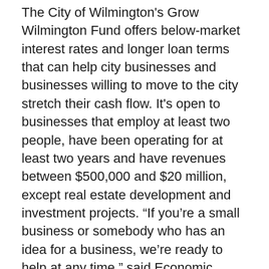The City of Wilmington's Grow Wilmington Fund offers below-market interest rates and longer loan terms that can help city businesses and businesses willing to move to the city stretch their cash flow. It's open to businesses that employ at least two people, have been operating for at least two years and have revenues between $500,000 and $20 million, except real estate development and investment projects. “If you’re a small business or somebody who has an idea for a business, we’re ready to help at any time,” said Economic Development Director Jeff Flynn.
Visit http://www.wilmingtonde.gov/docs/2311/CoW-GAF-FAQ.pdf
The Delaware Division of Natural Resources and